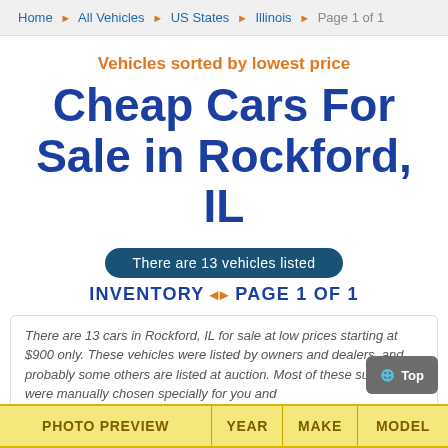Home ▶ All Vehicles ▶ US States ▶ Illinois ▶ Page 1 of 1
Vehicles sorted by lowest price
Cheap Cars For Sale in Rockford, IL
There are 13 vehicles listed
INVENTORY ◆ PAGE 1 OF 1
There are 13 cars in Rockford, IL for sale at low prices starting at $900 only. These vehicles were listed by owners and dealers, and probably some others are listed at auction. Most of these super deals were manually chosen specially for you and ...Read More
| PHOTO PREVIEW | YEAR | MAKE | MODEL |
| --- | --- | --- | --- |